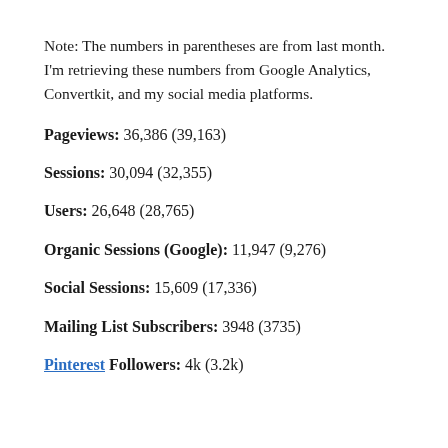Note: The numbers in parentheses are from last month. I'm retrieving these numbers from Google Analytics, Convertkit, and my social media platforms.
Pageviews: 36,386 (39,163)
Sessions: 30,094 (32,355)
Users: 26,648 (28,765)
Organic Sessions (Google): 11,947 (9,276)
Social Sessions: 15,609 (17,336)
Mailing List Subscribers: 3948 (3735)
Pinterest Followers: 4k (3.2k)